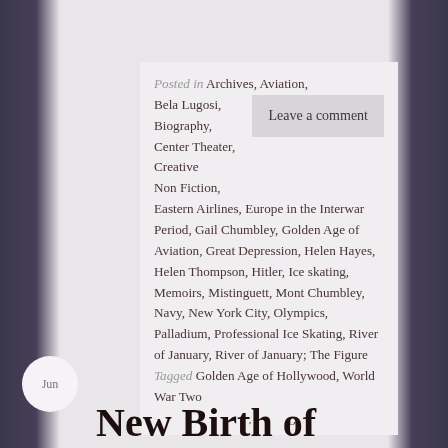Posted in Archives, Aviation, Bela Lugosi, Biography, Center Theater, Creative Non Fiction, Eastern Airlines, Europe in the Interwar Period, Gail Chumbley, Golden Age of Aviation, Great Depression, Helen Hayes, Helen Thompson, Hitler, Ice skating, Memoirs, Mistinguett, Mont Chumbley, Navy, New York City, Olympics, Palladium, Professional Ice Skating, River of January, River of January; The Figure Eight, Sonja Henie, Spuds Manning, Uncategorized, Vaudeville, Waco Aircraft, War in the Pacific, Writing Memoirs
Leave a comment
Tagged Golden Age of Hollywood, World War Two
Jun
Now Birth of